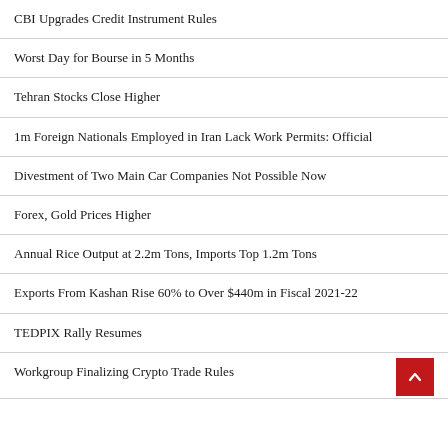CBI Upgrades Credit Instrument Rules
Worst Day for Bourse in 5 Months
Tehran Stocks Close Higher
1m Foreign Nationals Employed in Iran Lack Work Permits: Official
Divestment of Two Main Car Companies Not Possible Now
Forex, Gold Prices Higher
Annual Rice Output at 2.2m Tons, Imports Top 1.2m Tons
Exports From Kashan Rise 60% to Over $440m in Fiscal 2021-22
TEDPIX Rally Resumes
Workgroup Finalizing Crypto Trade Rules